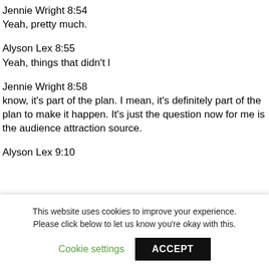Jennie Wright 8:54
Yeah, pretty much.
Alyson Lex 8:55
Yeah, things that didn't l
Jennie Wright 8:58
know, it's part of the plan. I mean, it's definitely part of the plan to make it happen. It's just the question now for me is the audience attraction source.
Alyson Lex 9:10
This website uses cookies to improve your experience. Please click below to let us know you're okay with this.
Cookie settings
ACCEPT